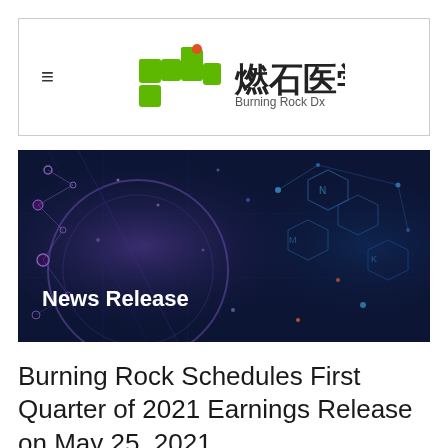[Figure (logo): Burning Rock Dx logo with green stylized DNA/molecule icon and Chinese characters 燃石医学]
[Figure (photo): Dark blue-purple science/molecular background banner with hexagonal molecular structures, circuit patterns, DNA strands, and glowing network nodes]
News Release
Burning Rock Schedules First Quarter of 2021 Earnings Release on May 25, 2021